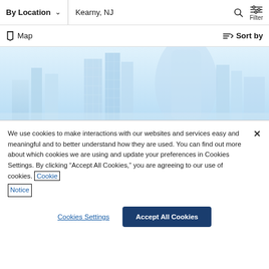By Location  ∨  Kearny, NJ
Map    Sort by
[Figure (screenshot): Map view showing a city skyline/building area for Kearny, NJ with light blue tones]
We use cookies to make interactions with our websites and services easy and meaningful and to better understand how they are used. You can find out more about which cookies we are using and update your preferences in Cookies Settings. By clicking "Accept All Cookies," you are agreeing to our use of cookies. Cookie Notice
Cookies Settings    Accept All Cookies